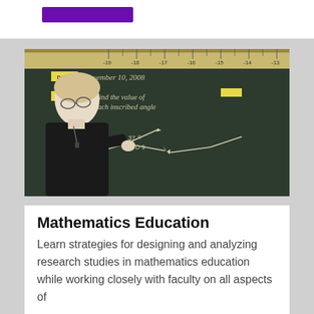[Figure (photo): A female teacher pointing at a chalkboard showing geometry problems about finding inscribed angles, dated November 10, 2008]
Mathematics Education
Learn strategies for designing and analyzing research studies in mathematics education while working closely with faculty on all aspects of